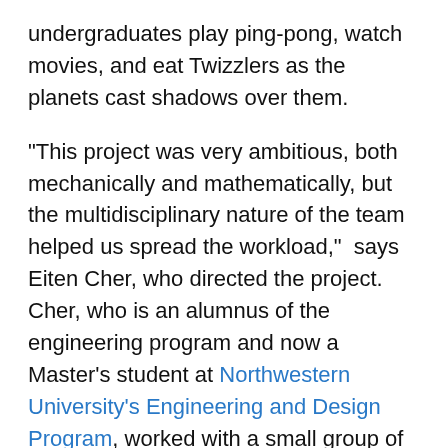undergraduates play ping-pong, watch movies, and eat Twizzlers as the planets cast shadows over them.
"This project was very ambitious, both mechanically and mathematically, but the multidisciplinary nature of the team helped us spread the workload," says Eiten Cher, who directed the project. Cher, who is an alumnus of the engineering program and now a Master's student at Northwestern University's Engineering and Design Program, worked with a small group of dedicated undergraduates living at Andrews to design and build the orrery.
The project was part of an interdisciplinary design team organized by Dr. Scot Douglass, head of the Engineering Honors Program. Dr. Douglass initiated the group in an attempt to foster collaboration between engineering and the arts outside of regular class. In his vision, the undergraduate design team would tackle a series of